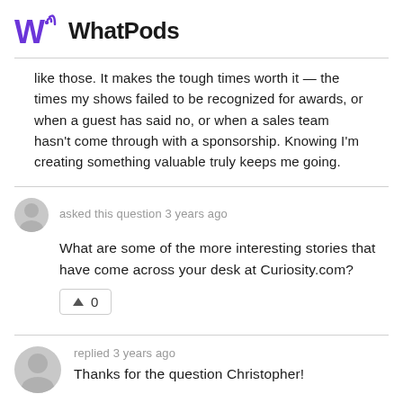WhatPods
like those. It makes the tough times worth it — the times my shows failed to be recognized for awards, or when a guest has said no, or when a sales team hasn't come through with a sponsorship. Knowing I'm creating something valuable truly keeps me going.
asked this question 3 years ago
What are some of the more interesting stories that have come across your desk at Curiosity.com?
0
replied 3 years ago
Thanks for the question Christopher!